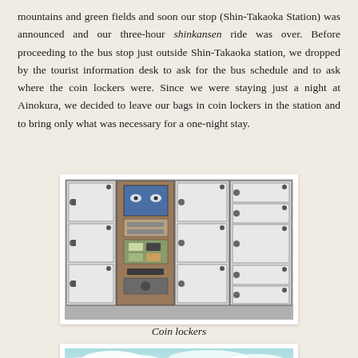mountains and green fields and soon our stop (Shin-Takaoka Station) was announced and our three-hour shinkansen ride was over. Before proceeding to the bus stop just outside Shin-Takaoka station, we dropped by the tourist information desk to ask for the bus schedule and to ask where the coin lockers were. Since we were staying just a night at Ainokura, we decided to leave our bags in coin lockers in the station and to bring only what was necessary for a one-night stay.
[Figure (photo): Photograph of coin lockers at a Japanese train station — multiple rows of white metal lockers with a central payment/control terminal.]
Coin lockers
[Figure (photo): Partial photograph showing a sky with clouds, beginning of another image at the bottom of the page.]